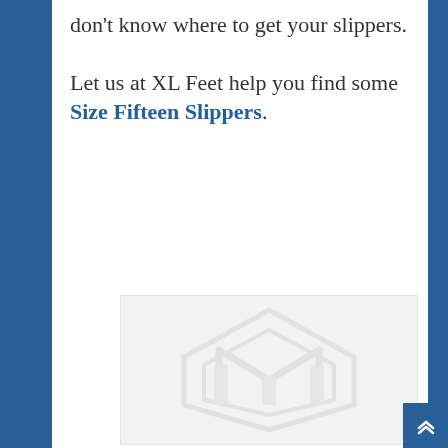don't know where to get your slippers.
Let us at XL Feet help you find some Size Fifteen Slippers.
[Figure (logo): Magento logo watermark placeholder image in light gray on a light background]